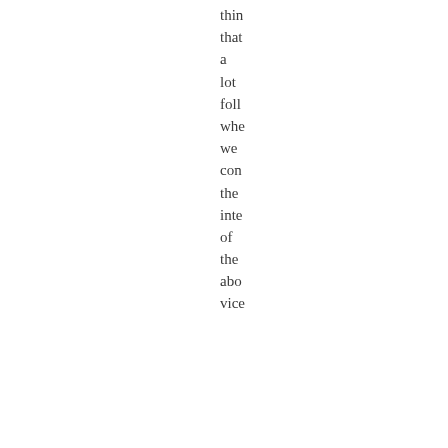thin that a lot foll whe we con the inte of the abo vice